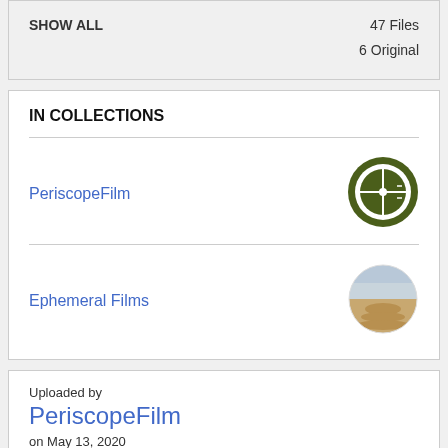SHOW ALL
47 Files
6 Original
IN COLLECTIONS
PeriscopeFilm
[Figure (logo): Dark green circular logo with crosshair/target design in center]
Ephemeral Films
[Figure (photo): Circular photo showing sandy beach and sky]
Uploaded by
PeriscopeFilm
on May 13, 2020